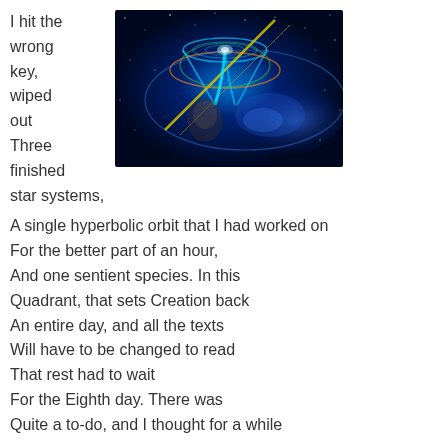I hit the wrong key, wiped out Three finished star systems,
[Figure (illustration): Colorful cosmic/space illustration showing a wormhole or black hole with neon-colored orbital lines (blue, yellow, orange, green) against a dark star-field background with nebula effects]
A single hyperbolic orbit that I had worked on
For the better part of an hour,
And one sentient species. In this
Quadrant, that sets Creation back
An entire day, and all the texts
Will have to be changed to read
That rest had to wait
For the Eighth day. There was
Quite a to-do, and I thought for a while

I might be let go.
But in the end, I got some office tape